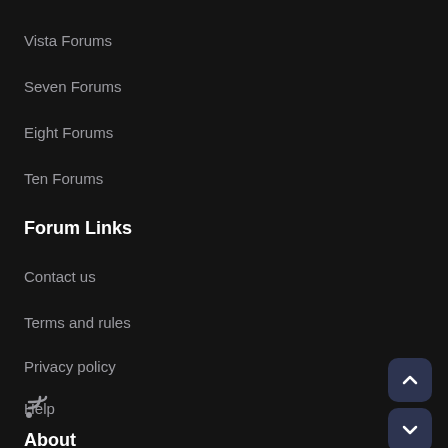Vista Forums
Seven Forums
Eight Forums
Ten Forums
Forum Links
Contact us
Terms and rules
Privacy policy
Help
[Figure (illustration): RSS feed icon]
About